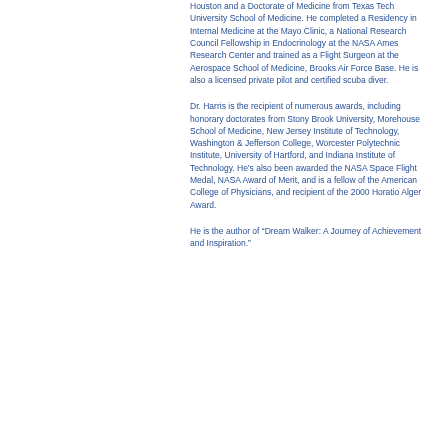Houston and a Doctorate of Medicine from Texas Tech University School of Medicine. He completed a Residency in Internal Medicine at the Mayo Clinic, a National Research Council Fellowship in Endocrinology at the NASA Ames Research Center and trained as a Flight Surgeon at the Aerospace School of Medicine, Brooks Air Force Base. He is also a licensed private pilot and certified scuba diver.
Dr. Harris is the recipient of numerous awards, including honorary doctorates from Stony Brook University, Morehouse School of Medicine, New Jersey Institute of Technology, Washington & Jefferson College, Worcester Polytechnic Institute, University of Hartford, and Indiana Institute of Technology. He's also been awarded the NASA Space Flight Medal, NASA Award of Merit, and is a fellow of the American College of Physicians, and recipient of the 2000 Horatio Alger Award.
He is the author of “Dream Walker: A Journey of Achievement and Inspiration.”